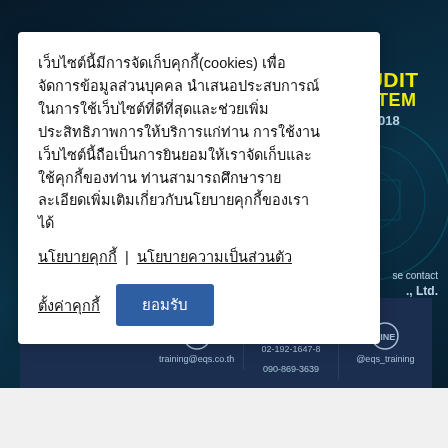[Figure (screenshot): Website cookie consent modal overlaid on a dark teal/navy website background with AUDIT SYSTEM ISO 9001:2018 branding text visible on right side, and a footer bar with contact information including email training@eqs.co.th, phone 02-192-1647-8 / 090-869-3639, and LINE @eqs_training]
เว็บไซต์นี้มีการจัดเก็บคุกกี้(cookies) เพื่อจัดการข้อมูลส่วนบุคคล นำเสนอประสบการณ์ในการใช้เว็บไซต์ที่ดีที่สุดและช่วยเพิ่มประสิทธิภาพการให้บริการแก่ท่าน การใช้งานเว็บไซต์นี้ถือเป็นการยินยอมให้เราจัดเก็บและใช้คุกกี้ของท่าน ท่านสามารถศึกษารายละเอียดเพิ่มเติมเกี่ยวกับนโยบายคุกกี้ของเราได้
นโยบายคุกกี้  |  นโยบายความเป็นส่วนตัว
ตั้งค่าคุกกี้
ยอมรับ